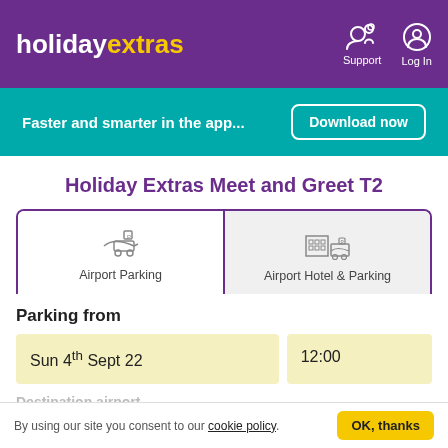holiday extras | Support | Log In
Faster and smarter in the app... Download now
Holiday Extras Meet and Greet T2
Airport Parking
Airport Hotel & Parking
Parking from
Sun 4th Sept 22
12:00
Destination airport
By using our site you consent to our cookie policy. OK, thanks